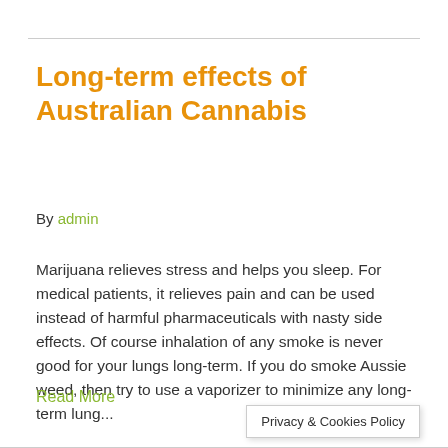Long-term effects of Australian Cannabis
By admin
Marijuana relieves stress and helps you sleep. For medical patients, it relieves pain and can be used instead of harmful pharmaceuticals with nasty side effects. Of course inhalation of any smoke is never good for your lungs long-term. If you do smoke Aussie weed, then try to use a vaporizer to minimize any long-term lung...
Read More
Privacy & Cookies Policy